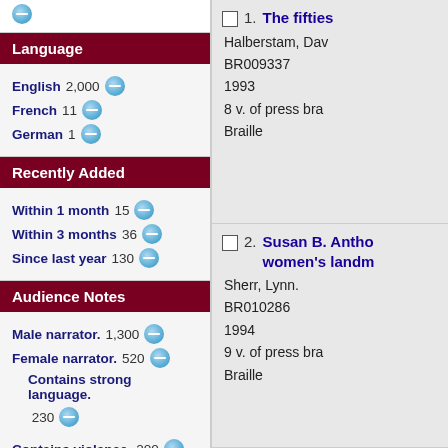Language section header
English 2,000
French 11
German 1
Recently Added
Within 1 month 15
Within 3 months 36
Since last year 130
Audience Notes
Male narrator. 1,300
Female narrator. 520
Contains strong language. 230
Contains violence. 200
Show more...
1. The fifties
Halberstam, Dav
BR009337
1993
8 v. of press bra
Braille
2. Susan B. Antho women's landm
Sherr, Lynn.
BR010286
1994
9 v. of press bra
Braille